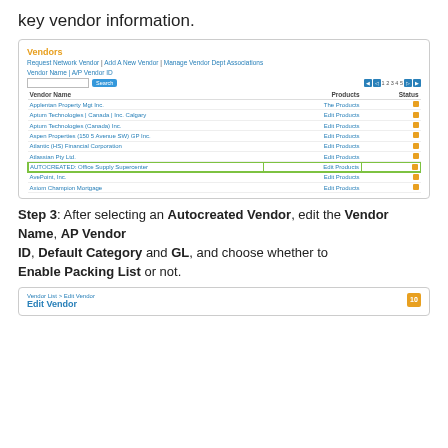key vendor information.
[Figure (screenshot): Screenshot of Vendors list page showing vendor names, Products column with Edit Products links, and Status column with orange status indicators. AUTOCREATED: Office Supply Supercenter row is highlighted with a green border.]
Step 3: After selecting an Autocreated Vendor, edit the Vendor Name, AP Vendor ID, Default Category and GL, and choose whether to Enable Packing List or not.
[Figure (screenshot): Screenshot showing bottom of page with breadcrumb Vendor List > Edit Vendor and Edit Vendor heading in blue, with orange icon in top right.]